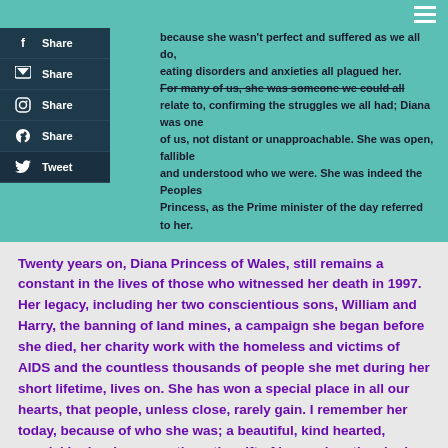because she wasn't perfect and suffered as we all do, eating disorders and anxieties all plagued her. For many of us, she was someone we could all relate to, confirming the struggles we all had; Diana was one of us, not distant or unapproachable. She was open, fallible and understood who we were. She was indeed the Peoples Princess, as the Prime minister of the day referred to her.
Twenty years on, Diana Princess of Wales, still remains a constant in the lives of those who witnessed her death in 1997. Her legacy, including her two conscientious sons, William and Harry, the banning of land mines, a campaign she began before she died, her charity work with the homeless and victims of AIDS and the countless thousands of people she met during her short lifetime, lives on. She has won a special place in all our hearts, that people, unless close, rarely gain. I remember her today, because of who she was; a beautiful, kind hearted, special Lady who gave others the gift of hope when they had none.